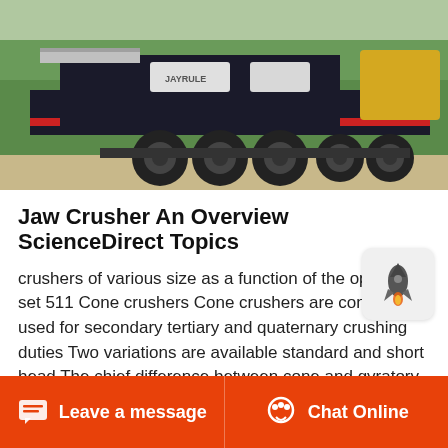[Figure (photo): A large heavy industrial jaw crusher machine loaded on a flatbed trailer truck, photographed outdoors with green trees in background. Machine is dark/black with red stripe accents.]
Jaw Crusher An Overview ScienceDirect Topics
crushers of various size as a function of the openside set 511 Cone crushers Cone crushers are commonly used for secondary tertiary and quaternary crushing duties Two variations are available standard and short head The chief difference between cone and gyratory or jaw crushers is the nearly parallel arrangement
Leave a message   Chat Online